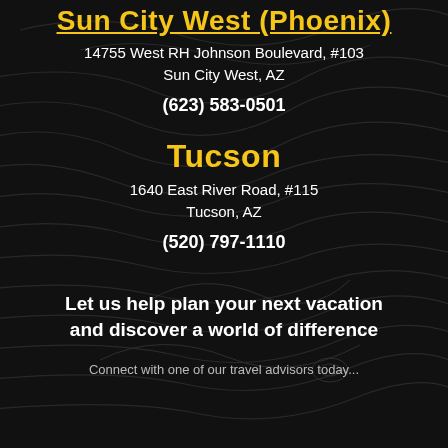Sun City West (Phoenix)
14755 West RH Johnson Boulevard, #103
Sun City West, AZ
(623) 583-0501
Tucson
1640 East River Road, #115
Tucson, AZ
(520) 797-1110
Let us help plan your next vacation and discover a world of difference
Connect with one of our travel advisors today...